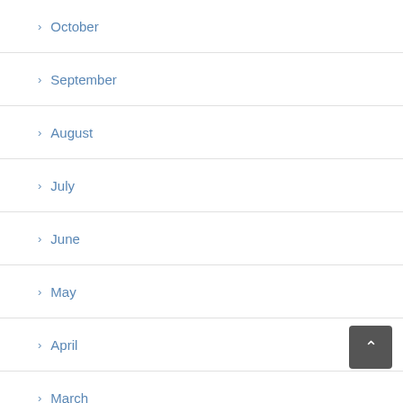October
September
August
July
June
May
April
March
February
January